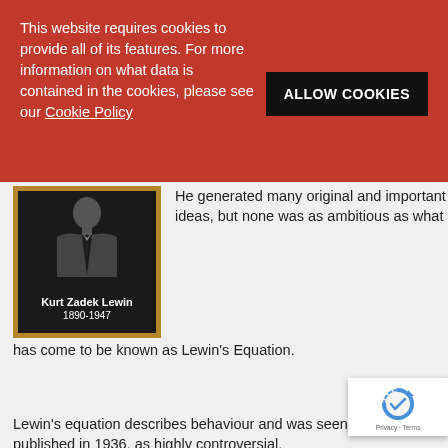This website requires cookies to provide all of its features. For more information on what data is contained in the cookies, please see our Cookie Policy
ALLOW COOKIES
[Figure (photo): Portrait plaque of Kurt Zadek Lewin, dark background with name and dates 1890-1947 in white text, wooden frame]
He generated many original  and important ideas, but none was as ambitious as what has come to be known as Lewin's Equation.
Lewin's equation describes behaviour and was seen, when it was published in 1936, as highly controversial.
Lewin's Equation
[Figure (logo): reCAPTCHA badge with Google reCAPTCHA logo and Privacy - Terms text]